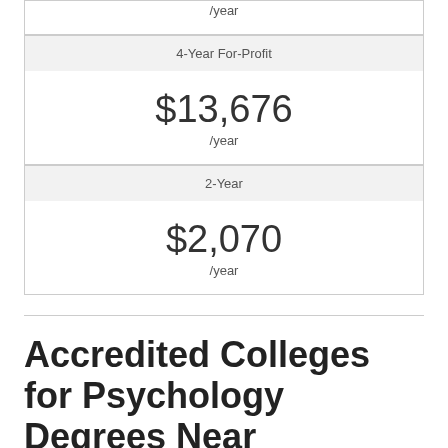/year
4-Year For-Profit
$13,676 /year
2-Year
$2,070 /year
Accredited Colleges for Psychology Degrees Near Chandler, Ari...